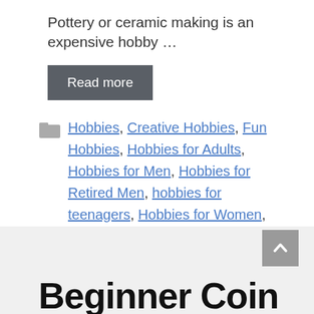Pottery or ceramic making is an expensive hobby …
Read more
Hobbies, Creative Hobbies, Fun Hobbies, Hobbies for Adults, Hobbies for Men, Hobbies for Retired Men, hobbies for teenagers, Hobbies for Women, Pottery, Profitable Hobbies
1 Comment
Beginner Coin